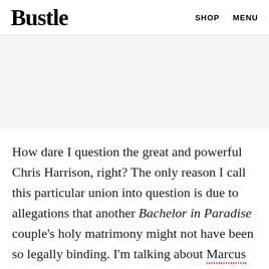Bustle  SHOP  MENU
[Figure (other): Gray advertisement placeholder block]
How dare I question the great and powerful Chris Harrison, right? The only reason I call this particular union into question is due to allegations that another Bachelor in Paradise couple's holy matrimony might not have been so legally binding. I'm talking about Marcus Grodd and Lacy Faddoul's ceremony on the